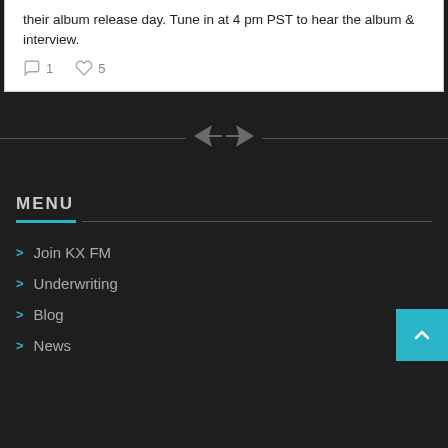their album release day. Tune in at 4 pm PST to hear the album & interview.
1  5
[Figure (illustration): Decorative horizontal divider with paper airplane icon in center, flanked by horizontal lines on dark background]
MENU
> Join KX FM
> Underwriting
> Blog
> News